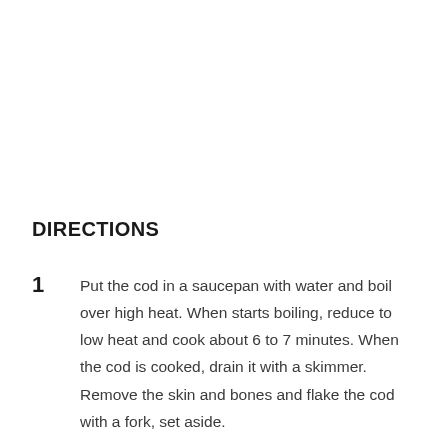DIRECTIONS
Put the cod in a saucepan with water and boil over high heat. When starts boiling, reduce to low heat and cook about 6 to 7 minutes. When the cod is cooked, drain it with a skimmer. Remove the skin and bones and flake the cod with a fork, set aside.